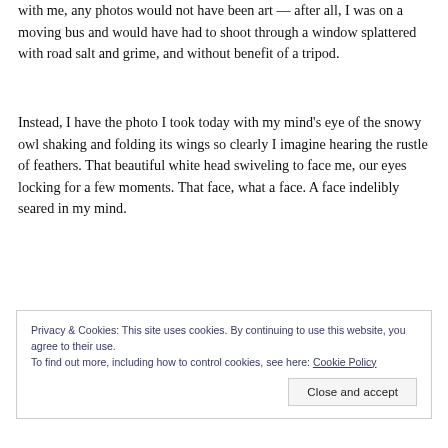with me, any photos would not have been art — after all, I was on a moving bus and would have had to shoot through a window splattered with road salt and grime, and without benefit of a tripod.
Instead, I have the photo I took today with my mind's eye of the snowy owl shaking and folding its wings so clearly I imagine hearing the rustle of feathers. That beautiful white head swiveling to face me, our eyes locking for a few moments. That face, what a face. A face indelibly seared in my mind.
Privacy & Cookies: This site uses cookies. By continuing to use this website, you agree to their use.
To find out more, including how to control cookies, see here: Cookie Policy
[Close and accept]